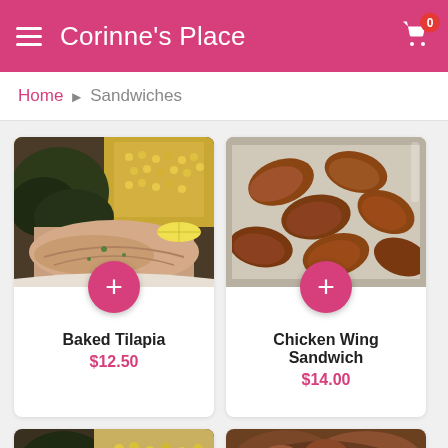Corinne's Place
Home > Sandwiches
[Figure (photo): Food photo: baked tilapia with collard greens and corn on a white plate with lemon slice]
Baked Tilapia
$12.50
[Figure (photo): Food photo: chicken wings in a metal tray]
Chicken Wing Sandwich
$14.00
[Figure (photo): Partial food photo: collard greens and starchy side dish]
[Figure (photo): Partial food photo: braised or sauced meat dish]